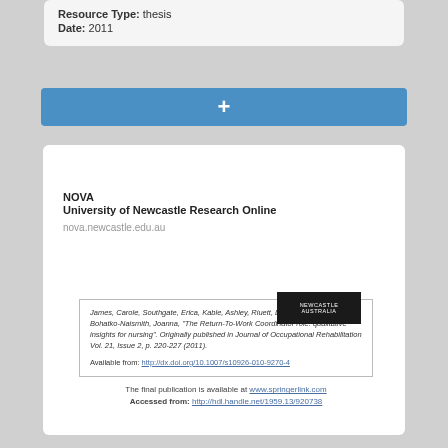Resource Type: thesis
Date: 2011
[Figure (other): Blue button bar with plus symbol]
[Figure (logo): University of Newcastle Australia logo bar (dark background, white text)]
NOVA
University of Newcastle Research Online
nova.newcastle.edu.au
James, Carole, Southgate, Erica, Kable, Ashley, Riuett, Darren A., Guest, Maya, Bohatko-Naismith, Joanna, "The Return-To-Work Coordinator role: qualitative insights for nursing". Originally published in Journal of Occupational Rehabilitation Vol. 21, Issue 2, p. 220-227 (2011).

Available from: http://dx.doi.org/10.1007/s10926-010-9270-4
The final publication is available at www.springerlink.com
Accessed from: http://hdl.handle.net/1959.13/920738